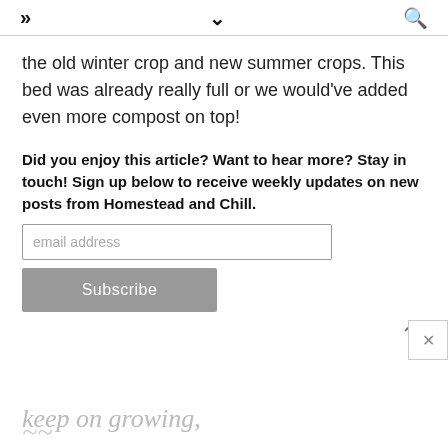» ∨ 🔍
the old winter crop and new summer crops. This bed was already really full or we would've added even more compost on top!
Did you enjoy this article? Want to hear more? Stay in touch! Sign up below to receive weekly updates on new posts from Homestead and Chill.
email address
Subscribe
keep on growing,